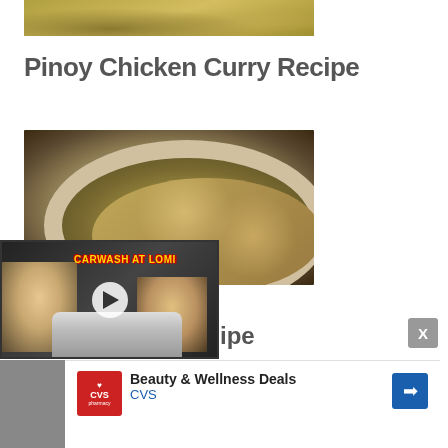[Figure (photo): Top portion of a food photo, partially cropped at top of page]
Pinoy Chicken Curry Recipe
[Figure (photo): Bowl of Filipino food (chicken curry or similar) with red onions, green vegetables, and meat in a white bowl on dark background]
[Figure (screenshot): Embedded video overlay showing two people, text 'CARWASH AT LOMI' in yellow/red, a car, and a play button]
ipe
[Figure (screenshot): CVS Pharmacy advertisement: Beauty & Wellness Deals, CVS branding with navigation arrow icon]
[Figure (other): Gray sidebar panel and small playback/close icons]